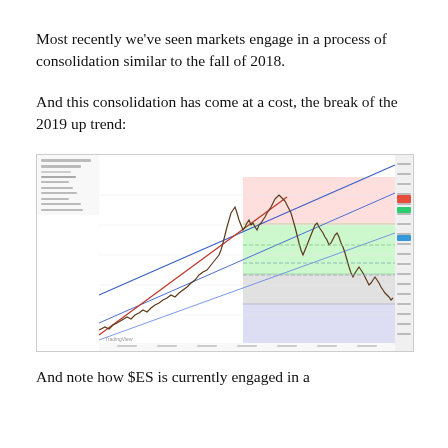Most recently we've seen markets engage in a process of consolidation similar to the fall of 2018.
And this consolidation has come at a cost, the break of the 2019 up trend:
[Figure (continuous-plot): S&P 500 Futures stock chart showing upward trend with trendlines, colored support/resistance zones (pink/red at top, green/yellow in middle, gray below, lavender at bottom), and a recent pullback and consolidation. TradingView watermark visible at bottom left.]
And note how $ES is currently engaged in a